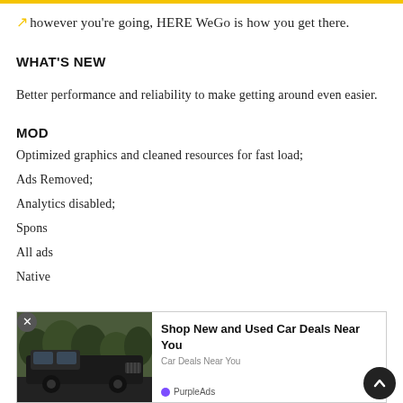however you're going, HERE WeGo is how you get there.
WHAT'S NEW
Better performance and reliability to make getting around even easier.
MOD
Optimized graphics and cleaned resources for fast load;
Ads Removed;
Analytics disabled;
Spons[ored content removed];
All ads[removed];
Native[ads disabled];
[Figure (other): Advertisement overlay showing a truck and text: Shop New and Used Car Deals Near You. Car Deals Near You. PurpleAds.]